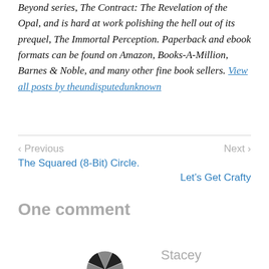Beyond series, The Contract: The Revelation of the Opal, and is hard at work polishing the hell out of its prequel, The Immortal Perception. Paperback and ebook formats can be found on Amazon, Books-A-Million, Barnes & Noble, and many other fine book sellers. View all posts by theundisputedunknown
< Previous
The Squared (8-Bit) Circle.
Next >
Let's Get Crafty
One comment
Stacey